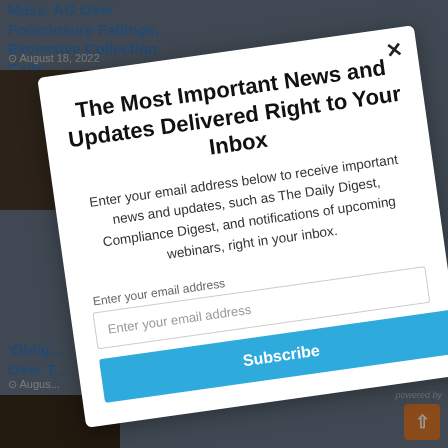[Figure (screenshot): Background of a website with article titles in blue, date stamps, and thumbnail images, partially obscured by a modal overlay.]
The Most Important News and Updates Delivered Right to Your Inbox
Enter your email address below to receive important news and updates, such as The Daily Digest, Compliance Digest, and notifications of upcoming webinars, right in your inbox.
Enter your email address
Subscribe